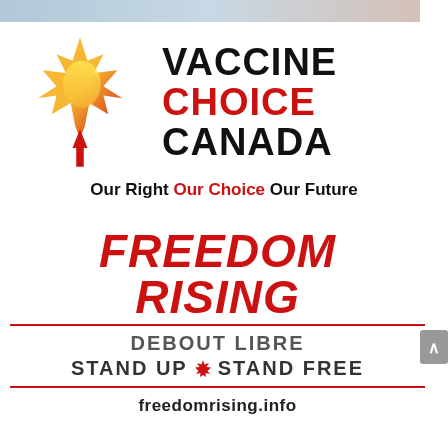[Figure (logo): Vaccine Choice Canada logo: Canadian maple leaf in red/orange/yellow gradient with a red arrow/flame in center, beside bold text VACCINE CHOICE CANADA]
Our Right Our Choice Our Future
[Figure (logo): Freedom Rising logo: large bold red italic text FREEDOM RISING, red horizontal lines above and below, text DEBOUT LIBRE / STAND UP [maple leaf] STAND FREE, url freedomrising.info]